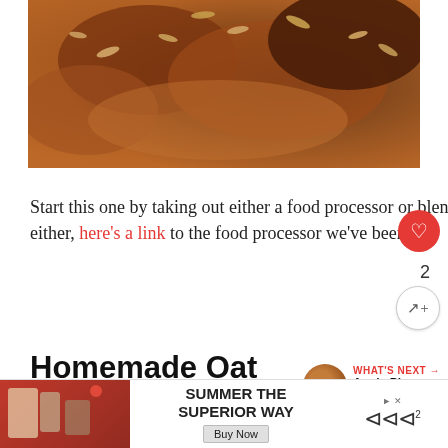[Figure (photo): Close-up photo of homemade oat flour bread/bars with seeds on top, on a wooden surface]
Start this one by taking out either a food processor or blender and making your own homemade oat flour. If you don't have either, here's a link to the food processor we've been.
Homemade Oat Flour
To make homemade oat flour all you need to do is
[Figure (screenshot): Advertisement banner: SUMMER THE SUPERIOR WAY with Buy Now button]